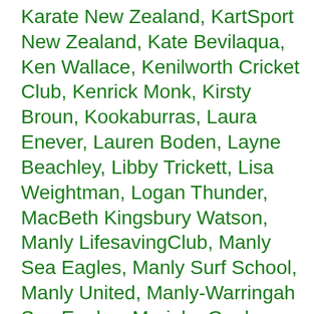Karate New Zealand, KartSport New Zealand, Kate Bevilaqua, Ken Wallace, Kenilworth Cricket Club, Kenrick Monk, Kirsty Broun, Kookaburras, Laura Enever, Lauren Boden, Layne Beachley, Libby Trickett, Lisa Weightman, Logan Thunder, MacBeth Kingsbury Watson, Manly LifesavingClub, Manly Sea Eagles, Manly Surf School, Manly United, Manly-Warringah Sea Eagles, Marieke Guehrer, matildas, Matt Abood, Meagen Nay, Melbourne Aces, Melbourne Cricket Club, Melbourne Demons, Melbourne Dragons, Melbourne Heart, Melbourne Ice, Melbourne Rebels, Melbourne Spring Carinival, Melbourne Storm, Melbourne Tigers, Melbourne Victory, Melbourne Vixens, Melissa Breon, Michael